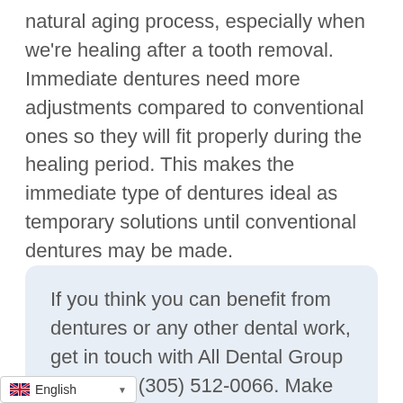natural aging process, especially when we're healing after a tooth removal. Immediate dentures need more adjustments compared to conventional ones so they will fit properly during the healing period. This makes the immediate type of dentures ideal as temporary solutions until conventional dentures may be made.
If you think you can benefit from dentures or any other dental work, get in touch with All Dental Group by calling (305) 512-0066. Make an appointment with us right away so we can fix any dental problems you may have before they get worse.